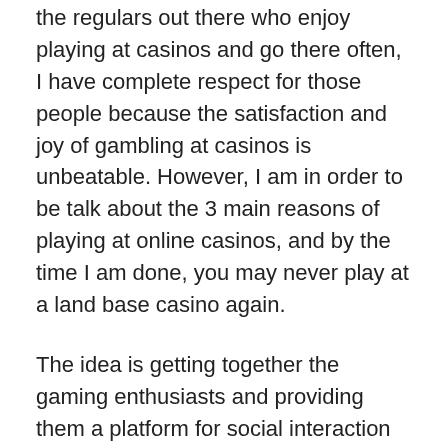the regulars out there who enjoy playing at casinos and go there often, I have complete respect for those people because the satisfaction and joy of gambling at casinos is unbeatable. However, I am in order to be talk about the 3 main reasons of playing at online casinos, and by the time I am done, you may never play at a land base casino again.
The idea is getting together the gaming enthusiasts and providing them a platform for social interaction on a topic of interest, here virtual slot online. As the product range is on the like-minded people from different corners belonging to the world, gaming perspectives that emerge and transfer among gaming enthusiasts are ongoing.
There are extensive online slot games get been free or pay for them, actually betting and also can get more large profits. They all have fancy 'slot machines' sharp